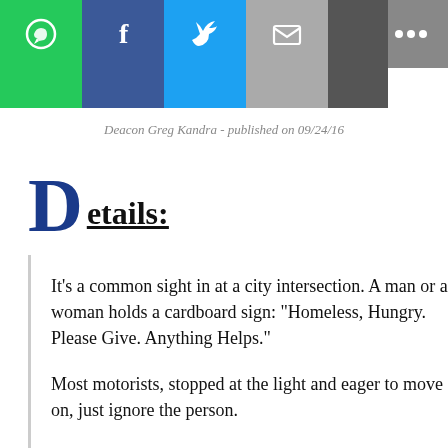[Figure (other): Social media sharing bar with icons for WhatsApp, Facebook, Twitter, Email, and a share button on gray background]
Deacon Greg Kandra - published on 09/24/16
Details:
It’s a common sight in at a city intersection. A man or a woman holds a cardboard sign: “Homeless, Hungry. Please Give. Anything Helps.”
Most motorists, stopped at the light and eager to move on, just ignore the person.
But what should you to do before the light changes?